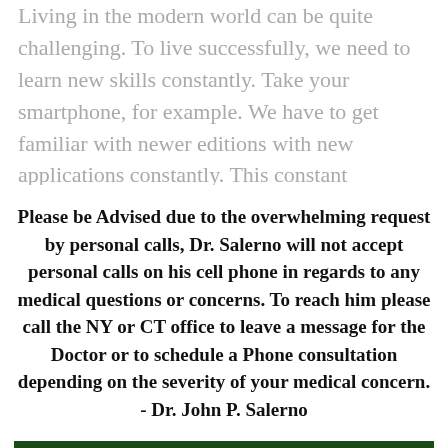Living in the modern world can be quite challenging. To live successfully, we need to learn new skills constantly. Take your smartphone, for example. We have to get familiar with newer editions with new applications constantly. This constant adaptation is not limited to the technology industry. Rapid changes are also happening in the health care industry...
Please be Advised due to the overwhelming request by personal calls, Dr. Salerno will not accept personal calls on his cell phone in regards to any medical questions or concerns. To reach him please call the NY or CT office to leave a message for the Doctor or to schedule a Phone consultation depending on the severity of your medical concern. - Dr. John P. Salerno